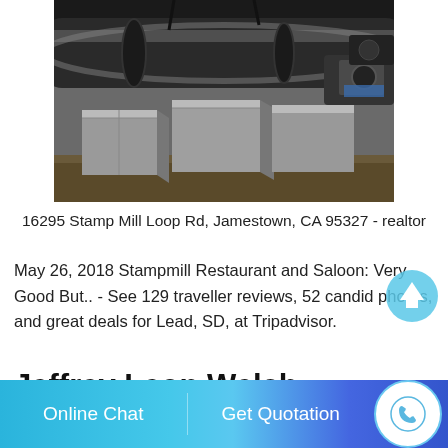[Figure (photo): Industrial photo showing large metal pipes/cylinders mounted on concrete blocks at a worksite or mining area]
16295 Stamp Mill Loop Rd, Jamestown, CA 95327 - realtor
May 26, 2018 Stampmill Restaurant and Saloon: Very Good But.. - See 129 traveller reviews, 52 candid photos, and great deals for Lead, SD, at Tripadvisor.
Jeffrey Leon Welch: Address 38
Online Chat   Get Quotation